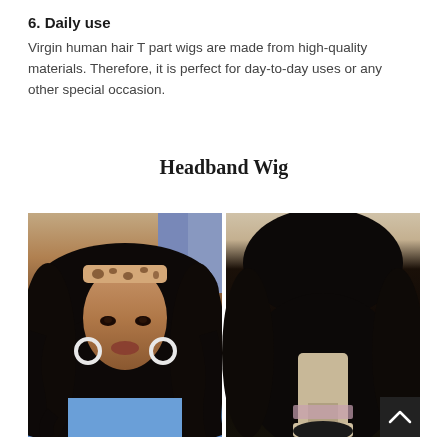6. Daily use
Virgin human hair T part wigs are made from high-quality materials. Therefore, it is perfect for day-to-day uses or any other special occasion.
Headband Wig
[Figure (photo): Two side-by-side photos of headband wigs: left photo shows a woman wearing a curly black wig with a leopard print headband, right photo shows a curly black wig on a mannequin head with a black headband.]